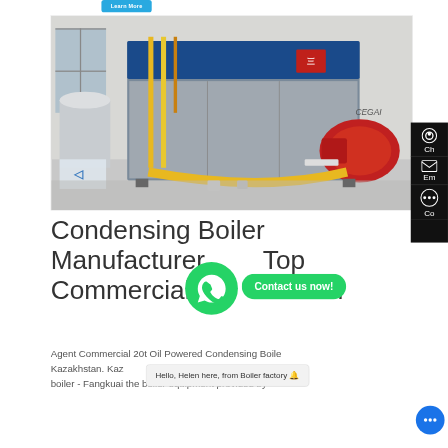[Figure (photo): Industrial condensing boiler with blue metal casing, red burner unit, and yellow gas pipes in a factory/showroom setting. Brand mark visible on the side.]
Condensing Boiler Manufacturer Top Commercial Kazakhstan
Agent Commercial 20t Oil Powered Condensing Boiler Kazakhstan. Kaz... ea... boiler - Fangkuai the boiler equipment provided by...